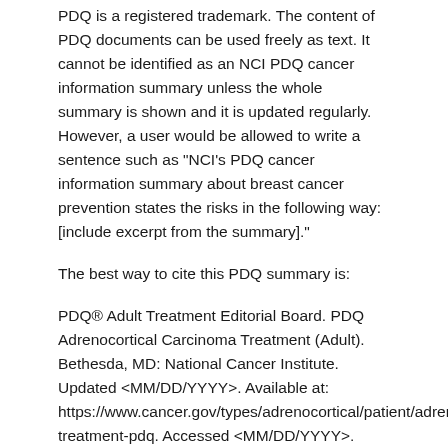PDQ is a registered trademark. The content of PDQ documents can be used freely as text. It cannot be identified as an NCI PDQ cancer information summary unless the whole summary is shown and it is updated regularly. However, a user would be allowed to write a sentence such as "NCI's PDQ cancer information summary about breast cancer prevention states the risks in the following way: [include excerpt from the summary]."
The best way to cite this PDQ summary is:
PDQ® Adult Treatment Editorial Board. PDQ Adrenocortical Carcinoma Treatment (Adult). Bethesda, MD: National Cancer Institute. Updated <MM/DD/YYYY>. Available at: https://www.cancer.gov/types/adrenocortical/patient/adrenocortical-treatment-pdq. Accessed <MM/DD/YYYY>. [PMID: 26389225]
Images in this summary are used with permission of the author(s), artist, and/or publisher for use in the PDQ